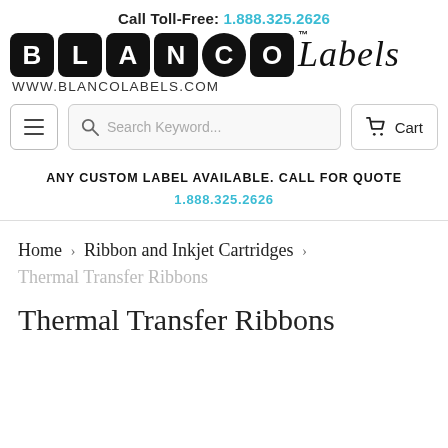Call Toll-Free: 1.888.325.2626
[Figure (logo): Blanco Labels logo with BLANCO in black rounded-square letter blocks and 'Labels' in script font, TM mark]
WWW.BLANCOLABELS.COM
Search Keyword...
Cart
ANY CUSTOM LABEL AVAILABLE. CALL FOR QUOTE
1.888.325.2626
Home › Ribbon and Inkjet Cartridges › Thermal Transfer Ribbons
Thermal Transfer Ribbons